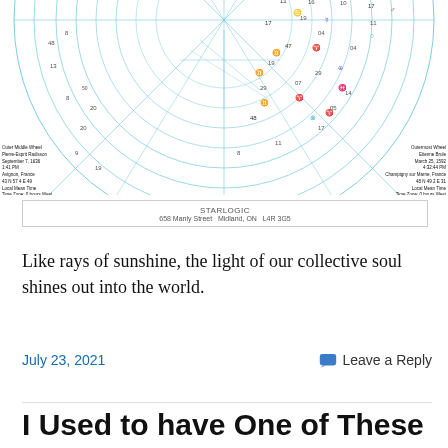[Figure (other): Astrological natal chart (double wheel) showing two birth charts overlaid. Left side labels: Outer Middle Wheel / Pierre-Esprit Radisson / September 7, 1636 / 1:41 PM / Avignon, France / 43 N 57  4 E 49 / Local Mean Time / Time Zone: 0 hours West / Tropical Placidus / Geocentric / NATAL CHART. Right side labels: Outermost Wheel / Etienne Brule / March 25, 1592 / 4:32:44 PM / Champigny sur Marne, France / 48 N 49  2 E 31 / Local Mean Time / Time Zone: 0 hours West / Tropical Placidus / Geocentric / NATAL CHART. Center box: STARLOGIC / 658 Manly Street  Midland, ON  L4R 3G5]
Like rays of sunshine, the light of our collective soul shines out into the world.
July 23, 2021    Leave a Reply
I Used to have One of These Hats